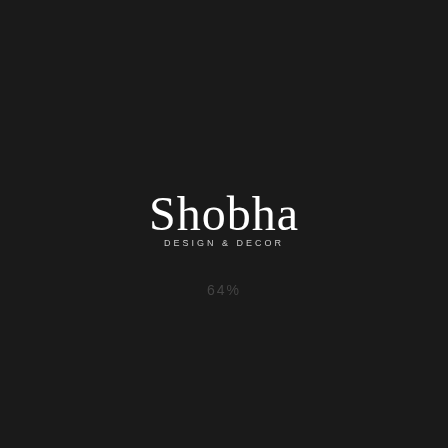[Figure (logo): Shobha Design & Decor logo — script lettering 'Shobha' in white above sans-serif text 'DESIGN & DECOR' in light grey, on black background]
64%